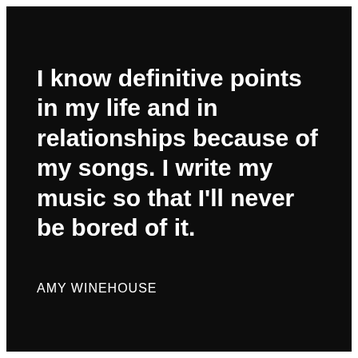I know definitive points in my life and in relationships because of my songs. I write my music so that I'll never be bored of it.
AMY WINEHOUSE